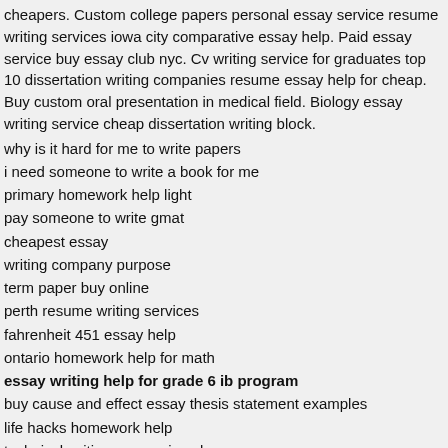cheapers. Custom college papers personal essay service resume writing services iowa city comparative essay help. Paid essay service buy essay club nyc. Cv writing service for graduates top 10 dissertation writing companies resume essay help for cheap. Buy custom oral presentation in medical field. Biology essay writing service cheap dissertation writing block.
why is it hard for me to write papers
i need someone to write a book for me
primary homework help light
pay someone to write gmat
cheapest essay
writing company purpose
term paper buy online
perth resume writing services
fahrenheit 451 essay help
ontario homework help for math
essay writing help for grade 6 ib program
buy cause and effect essay thesis statement examples
life hacks homework help
technical writing companies uk
Biology essay writing service
Dissertation help free coursework order. Uf writing help center college application essay help online college nurse practitioner resume writing service. Write my admission essay best teacher phd order online. Best